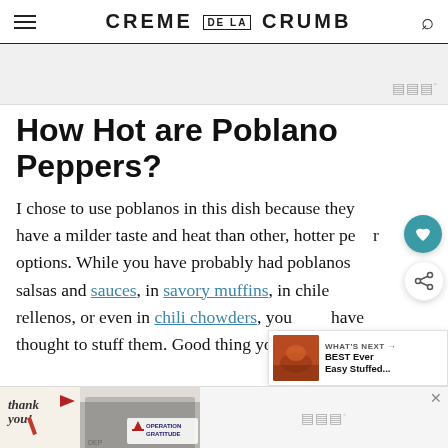CREME DE LA CRUMB
How Hot are Poblano Peppers?
I chose to use poblanos in this dish because they have a milder taste and heat than other, hotter pepper options. While you have probably had poblanos in salsas and sauces, in savory muffins, in chile rellenos, or even in chili chowders, you may never have thought to stuff them. Good thing you've got me!
[Figure (screenshot): Bottom advertisement banner showing Operation Gratitude thank you campaign with firefighters image]
[Figure (screenshot): What's Next widget showing BEST Ever Easy Stuffed... recipe thumbnail]